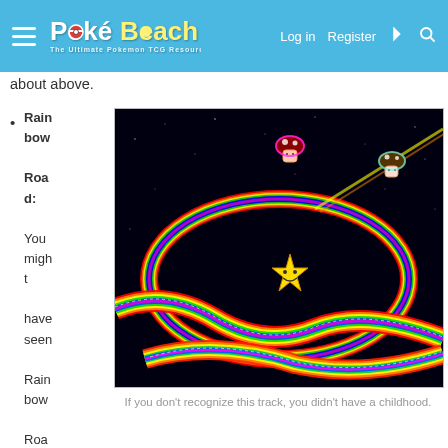PokéBeach — Log in | Register
about above.
Rainbow Road: You might have seen Rainbow Road in
[Figure (photo): Screenshot of Rainbow Road track from a video game, featuring a colorful neon rainbow-striped road curving through a dark starry space background, with a yellow star character and mushroom characters visible.]
If you don't recognize this track, you didn't have a childhood.